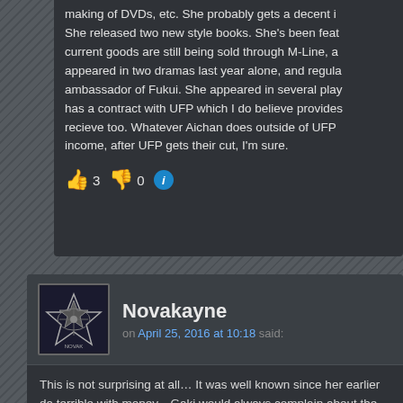making of DVDs, etc. She probably gets a decent income from that. She released two new style books. She's been featured in magazines, current goods are still being sold through M-Line, appeared in two dramas last year alone, and regula... ambassador of Fukui. She appeared in several plays has a contract with UFP which I do believe provides recieve too. Whatever Aichan does outside of UFP income, after UFP gets their cut, I'm sure.
👍 3 👎 0 ℹ
Novakayne
on April 25, 2016 at 10:18 said:
This is not surprising at all… It was well known since her earlier da terrible with money…Gaki would always complain about the nonse is the type who when she cant deiced between 2 things she woul...
On the other hand, its kind of hard to believe that she is truly bro Morning Musume you would assume she would be in the top 3 of...